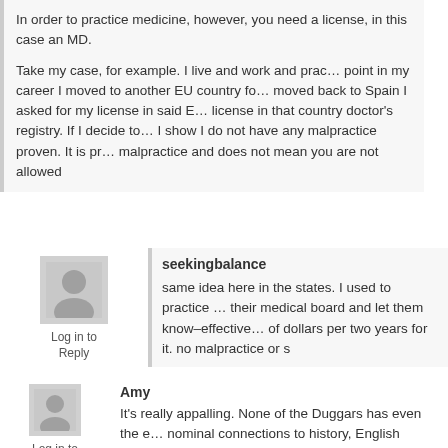In order to practice medicine, however, you need a license, in this case an MD.
Take my case, for example. I live and work and practice in Spain. At some point in my career I moved to another EU country for a while. When I moved back to Spain I asked for my license in said EU country, and erased my license in that country doctor's registry. If I decide to go back to that country I show I do not have any malpractice proven. It is proof of absence of malpractice and does not mean you are not allowed
seekingbalance
same idea here in the states. I used to practice and then let my license go their medical board and let them know–effectively I still paid hundreds of dollars per two years for it. no malpractice or s
Log in to Reply
Amy
It's really appalling. None of the Duggars has even the e nominal connections to history, English composition and dresses on TV.
Log in to Reply